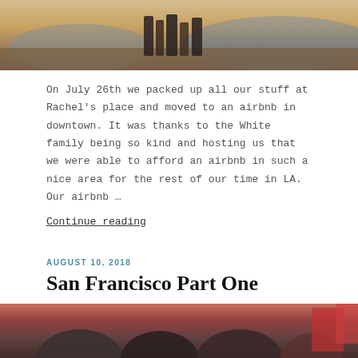[Figure (photo): Top portion of an outdoor photo showing people standing on a hillside with a mountain/valley view in the background]
On July 26th we packed up all our stuff at Rachel's place and moved to an airbnb in downtown. It was thanks to the White family being so kind and hosting us that we were able to afford an airbnb in such a nice area for the rest of our time in LA. Our airbnb …
Continue reading
AUGUST 10, 2018
San Francisco Part One
[Figure (photo): Bottom portion of a photo showing a group of people indoors, partially visible]